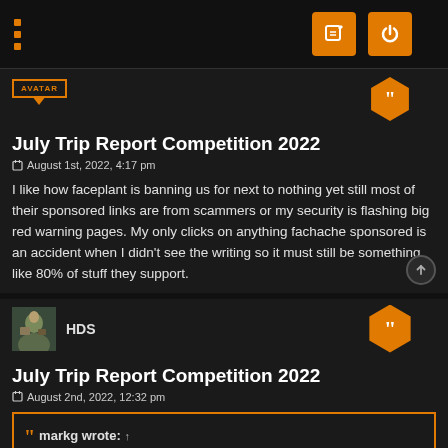July Trip Report Competition 2022
August 1st, 2022, 4:17 pm
I like how faceplant is banning us for next to nothing yet still most of their sponsored links are from scammers or my security is flashing big red warning pages. My only clicks on anything fachache sponsored is an accident when I didn't see the writing so it must still be something like 80% of stuff they support.
HDS
July Trip Report Competition 2022
August 2nd, 2022, 12:32 pm
markg wrote: ↑
Gee HD, I get banned on FB monthly. It doesn't take much these d… just some honesty is enough to get you silenced.